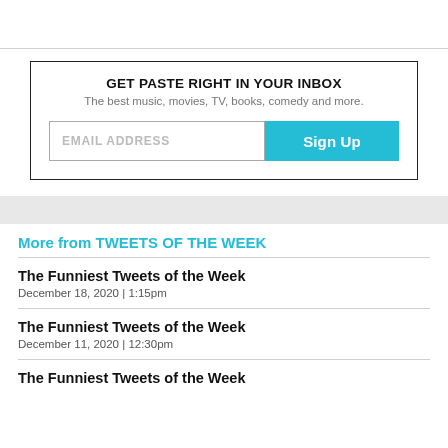[Figure (other): Email newsletter signup widget with title 'GET PASTE RIGHT IN YOUR INBOX', subtitle 'The best music, movies, TV, books, comedy and more.', an email address input field, and a cyan 'Sign Up' button]
More from TWEETS OF THE WEEK
The Funniest Tweets of the Week
December 18, 2020  |  1:15pm
The Funniest Tweets of the Week
December 11, 2020  |  12:30pm
The Funniest Tweets of the Week